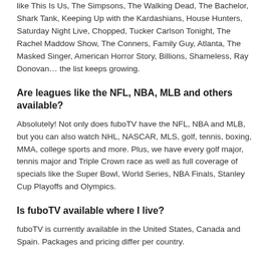like This Is Us, The Simpsons, The Walking Dead, The Bachelor, Shark Tank, Keeping Up with the Kardashians, House Hunters, Saturday Night Live, Chopped, Tucker Carlson Tonight, The Rachel Maddow Show, The Conners, Family Guy, Atlanta, The Masked Singer, American Horror Story, Billions, Shameless, Ray Donovan… the list keeps growing.
Are leagues like the NFL, NBA, MLB and others available?
Absolutely! Not only does fuboTV have the NFL, NBA and MLB, but you can also watch NHL, NASCAR, MLS, golf, tennis, boxing, MMA, college sports and more. Plus, we have every golf major, tennis major and Triple Crown race as well as full coverage of specials like the Super Bowl, World Series, NBA Finals, Stanley Cup Playoffs and Olympics.
Is fuboTV available where I live?
fuboTV is currently available in the United States, Canada and Spain. Packages and pricing differ per country.